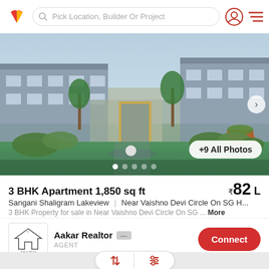Pick Location, Builder Or Project
[Figure (photo): Exterior rendering of a modern residential apartment complex with landscaped gardens, palm trees, and architectural facade]
3 BHK Apartment 1,850 sq ft
₹82 L
Sangani Shaligram Lakeview | Near Vaishno Devi Circle On SG H...
3 BHK Property for sale in Near Vaishno Devi Circle On SG ... More
Aakar Realtor
AGENT
Connect
[Figure (screenshot): Sort and filter icon buttons in a pill-shaped container with up-down arrows and sliders icon]
[Figure (infographic): adpushup advertisement banner: Lidl Groceries Are Low-Priced - Lidl logo and navigation arrow icon]